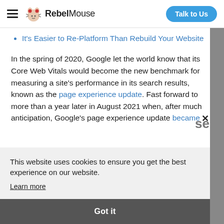RebelMouse | Talk to Us
It's Easier to Re-Platform Than Rebuild Your Website
In the spring of 2020, Google let the world know that its Core Web Vitals would become the new benchmark for measuring a site's performance in its search results, known as the page experience update. Fast forward to more than a year later in August 2021 when, after much anticipation, Google's page experience update became
This website uses cookies to ensure you get the best experience on our website.
Learn more
Got it
HTTP Archive, a